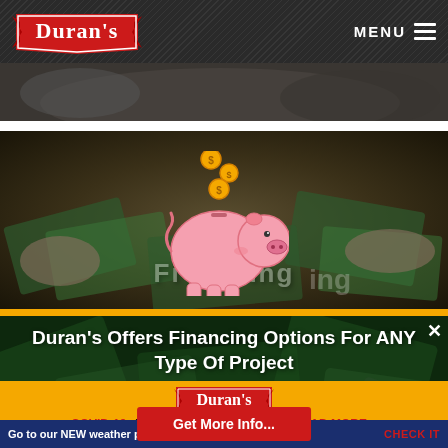Duran's — MENU
[Figure (photo): Dark photo of hands/desk, partially visible at top]
[Figure (photo): Piggy bank with coins falling, financing-themed photo with money bills background]
Duran's Offers Financing Options For ANY Type Of Project
Get More Info...
[Figure (logo): Duran's logo in red banner style on yellow background]
COVID-19: Updates and Compliance   READ MORE...
Go to our NEW weather page for the LATEST updates   CHECK IT